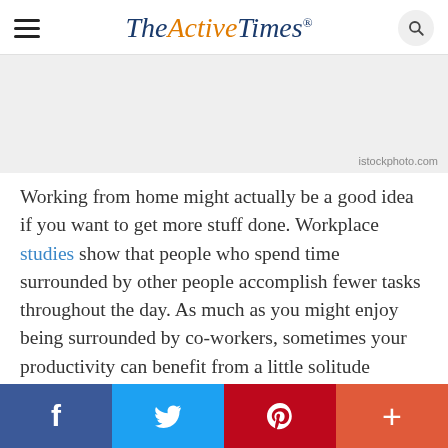The Active Times
[Figure (photo): Light gray placeholder image area for an article photo]
istockphoto.com
Working from home might actually be a good idea if you want to get more stuff done. Workplace studies show that people who spend time surrounded by other people accomplish fewer tasks throughout the day. As much as you might enjoy being surrounded by co-workers, sometimes your productivity can benefit from a little solitude instead.
Social share bar: Facebook, Twitter, Pinterest, More